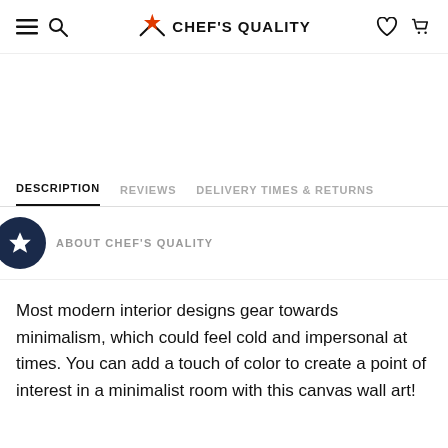Chef's Quality — navigation bar with hamburger, search, logo, heart, and cart icons
DESCRIPTION | REVIEWS | DELIVERY TIMES & RETURNS
ABOUT CHEF'S QUALITY
Most modern interior designs gear towards minimalism, which could feel cold and impersonal at times. You can add a touch of color to create a point of interest in a minimalist room with this canvas wall art!